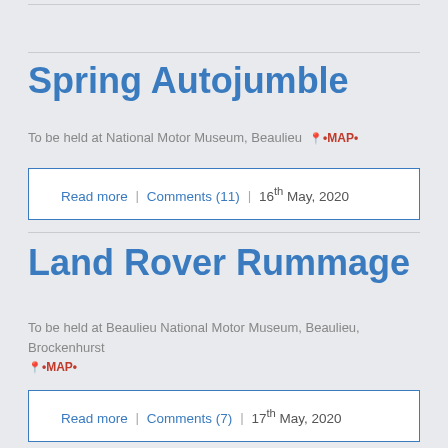Spring Autojumble
To be held at National Motor Museum, Beaulieu •MAP•
Read more | Comments (11) | 16th May, 2020
Land Rover Rummage
To be held at Beaulieu National Motor Museum, Beaulieu, Brockenhurst •MAP•
Read more | Comments (7) | 17th May, 2020